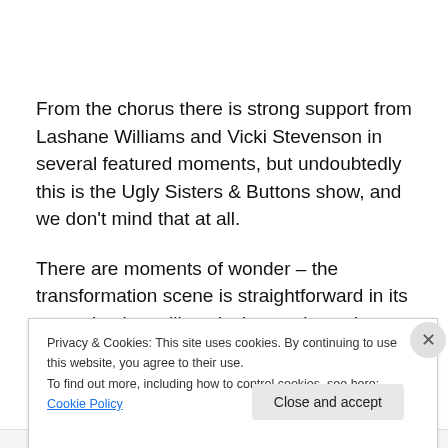From the chorus there is strong support from Lashane Williams and Vicki Stevenson in several featured moments, but undoubtedly this is the Ugly Sisters & Buttons show, and we don't mind that at all.
There are moments of wonder – the transformation scene is straightforward in its execution but still works its magic on the children – plenty of audience participation, with
Privacy & Cookies: This site uses cookies. By continuing to use this website, you agree to their use.
To find out more, including how to control cookies, see here: Cookie Policy
Close and accept